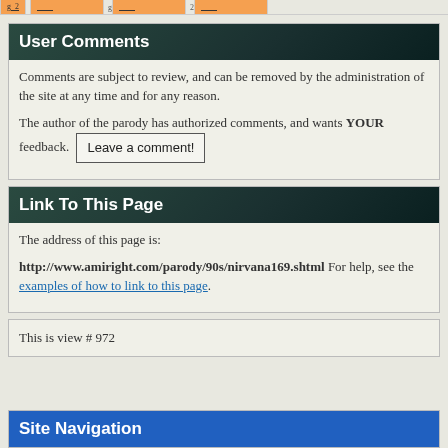[navigation strip - partial]
User Comments
Comments are subject to review, and can be removed by the administration of the site at any time and for any reason.

The author of the parody has authorized comments, and wants YOUR feedback. Leave a comment!
Link To This Page
The address of this page is:
http://www.amiright.com/parody/90s/nirvana169.shtml For help, see the examples of how to link to this page.
This is view # 972
Site Navigation